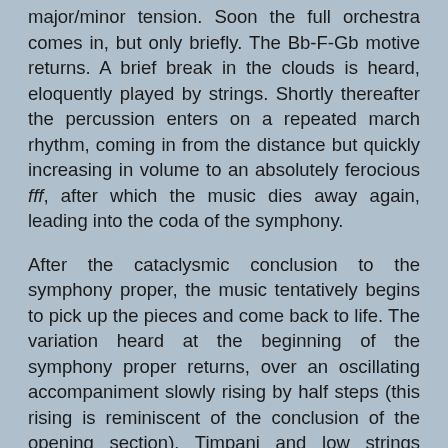major/minor tension. Soon the full orchestra comes in, but only briefly. The Bb-F-Gb motive returns. A brief break in the clouds is heard, eloquently played by strings. Shortly thereafter the percussion enters on a repeated march rhythm, coming in from the distance but quickly increasing in volume to an absolutely ferocious fff, after which the music dies away again, leading into the coda of the symphony.
After the cataclysmic conclusion to the symphony proper, the music tentatively begins to pick up the pieces and come back to life. The variation heard at the beginning of the symphony proper returns, over an oscillating accompaniment slowly rising by half steps (this rising is reminiscent of the conclusion of the opening section). Timpani and low strings respond with a repeated G natural motive, ultimately acting as a dominant for c min. E naturals are heard, creating a major/minor tension.
At the arrival of c min music of loss and mourning is heard. Low strings and timpani continue to repeat the G natural motive, as the music tentatively and hesitantly returns back to c min. Double basses, accented with soft tam-tam strokes